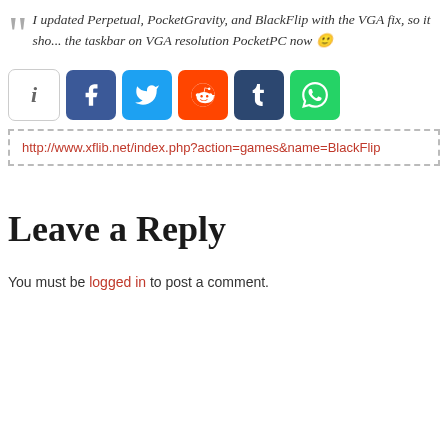I updated Perpetual, PocketGravity, and BlackFlip with the VGA fix, so it should not cover the taskbar on VGA resolution PocketPC now 🙂
[Figure (other): Social share buttons: info (i), Facebook, Twitter, Reddit, Tumblr, WhatsApp]
http://www.xflib.net/index.php?action=games&name=BlackFlip
Leave a Reply
You must be logged in to post a comment.